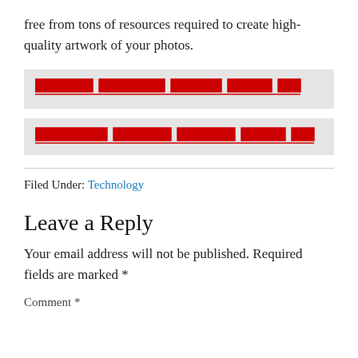free from tons of resources required to create high-quality artwork of your photos.
[Figure (other): Redacted advertisement link box with gray background, red underlined redacted text (first row)]
[Figure (other): Redacted advertisement link box with gray background, red underlined redacted text (second row)]
Filed Under: Technology
Leave a Reply
Your email address will not be published. Required fields are marked *
Comment *